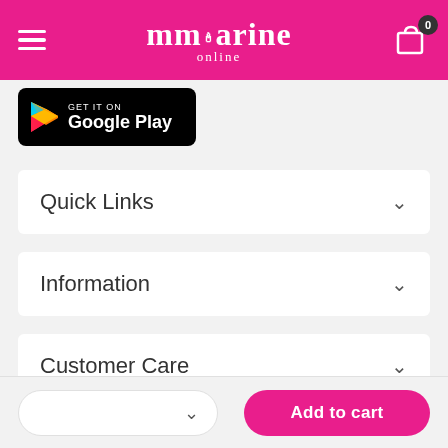mmarine online — navigation header with hamburger menu and cart (0 items)
[Figure (logo): Google Play Store badge: GET IT ON Google Play]
Quick Links
Information
Customer Care
[Figure (screenshot): Bottom bar with quantity selector dropdown and Add to cart button]